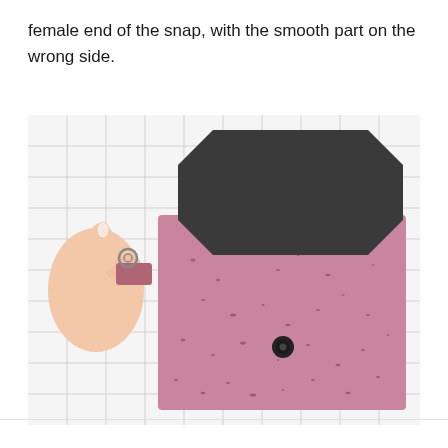female end of the snap, with the smooth part on the wrong side.
[Figure (photo): A hand holding a small rectangular piece of cork fabric with a snap component, positioned next to a pink/mauve speckled cork fabric wallet/pouch with an octagonal dark grey flap. The wallet sits on a white cutting mat with grid lines. A black snap is visible on the body of the wallet.]